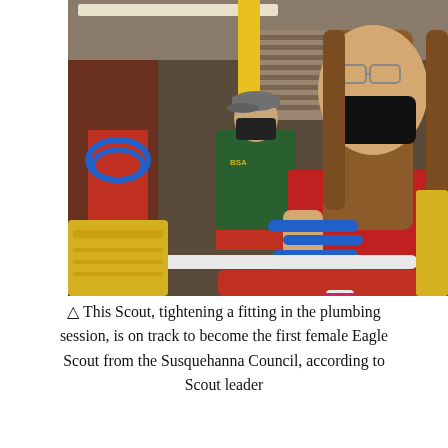[Figure (photo): A young woman in a red t-shirt and black mask with long brown hair tightens a blue plumbing fitting on a red workbench in an industrial workshop. In the background, another person in a green hoodie and grey cap works at a similar bench. Yellow bins and red equipment are visible throughout the workspace.]
△ This Scout, tightening a fitting in the plumbing session, is on track to become the first female Eagle Scout from the Susquehanna Council, according to Scout leader